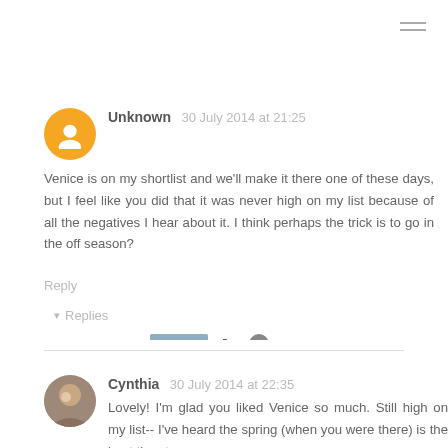[Figure (other): Hamburger menu icon (three horizontal lines) in top right corner]
Unknown  30 July 2014 at 21:25
Venice is on my shortlist and we'll make it there one of these days, but I feel like you did that it was never high on my list because of all the negatives I hear about it. I think perhaps the trick is to go in the off season?
Reply
▾  Replies
Jay  30 July 2014 at 23:06
I think the off-season definitely helps. It was lovely in April.
Reply
Cynthia  30 July 2014 at 22:35
Lovely! I'm glad you liked Venice so much. Still high on my list-- I've heard the spring (when you were there) is the best time to